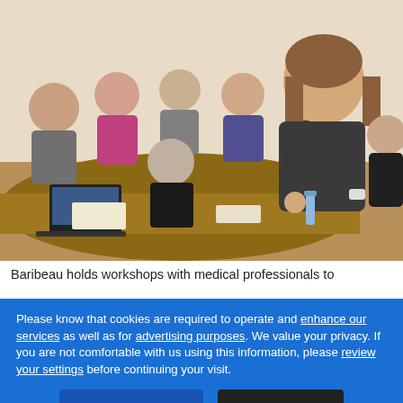[Figure (photo): A woman with long brown hair speaks and gestures at a conference table surrounded by medical professionals in a meeting room. Laptops and materials are on the table.]
Baribeau holds workshops with medical professionals to
Please know that cookies are required to operate and enhance our services as well as for advertising purposes. We value your privacy. If you are not comfortable with us using this information, please review your settings before continuing your visit.